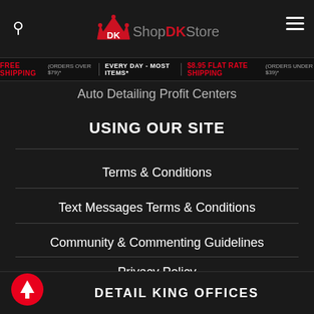Shop DK Store
FREE SHIPPING (ORDERS OVER $79)* | EVERY DAY - MOST ITEMS* | $8.95 FLAT RATE SHIPPING (ORDERS UNDER $39)*
Auto Detailing Profit Centers
USING OUR SITE
Terms & Conditions
Text Messages Terms & Conditions
Community & Commenting Guidelines
Privacy Policy
Sitemap
DETAIL KING OFFICES